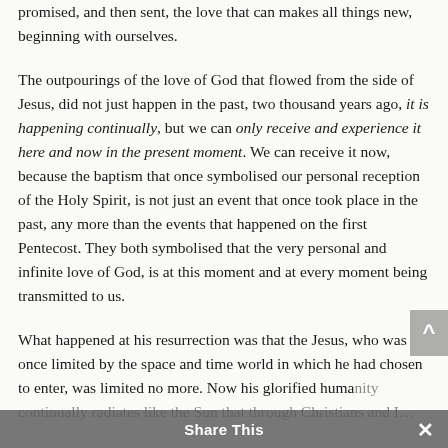promised, and then sent, the love that can makes all things new, beginning with ourselves.
The outpourings of the love of God that flowed from the side of Jesus, did not just happen in the past, two thousand years ago, it is happening continually, but we can only receive and experience it here and now in the present moment. We can receive it now, because the baptism that once symbolised our personal reception of the Holy Spirit, is not just an event that once took place in the past, any more than the events that happened on the first Pentecost. They both symbolised that the very personal and infinite love of God, is at this moment and at every moment being transmitted to us.
What happened at his resurrection was that the Jesus, who was once limited by the space and time world in which he had chosen to enter, was limited no more. Now his glorified huma[nity continually radiates like the Sun that through Christians and I…]